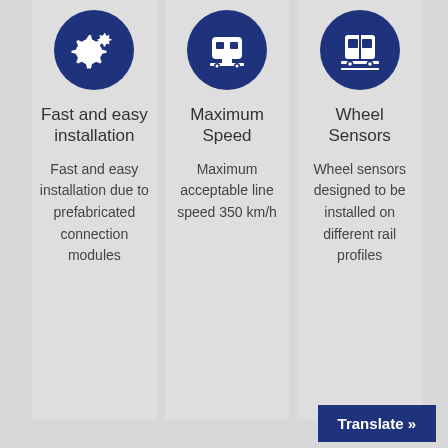[Figure (illustration): Dark blue circle with a white gear/settings icon (cogwheels)]
Fast and easy installation
Fast and easy installation due to prefabricated connection modules
[Figure (illustration): Dark blue circle with a white train/tram front-view icon]
Maximum Speed
Maximum acceptable line speed 350 km/h
[Figure (illustration): Dark blue circle with a white train/rail vehicle front-view icon]
Wheel Sensors
Wheel sensors designed to be installed on different rail profiles
Translate »